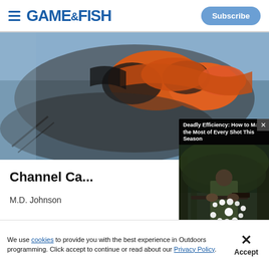GAME&FISH | Subscribe
[Figure (photo): Close-up photo of a catfish being held, showing orange and black coloring on hands/gloves against a blurred water background]
Channel Ca...
M.D. Johnson
[Figure (screenshot): Video player overlay showing 'Deadly Efficiency: How to Make the Most of Every Shot This Season' with a hunter holding a rifle in a forest setting. Controls show 00:00 / 06:27.]
We use cookies to provide you with the best experience in Outdoors programming. Click accept to continue or read about our Privacy Policy.